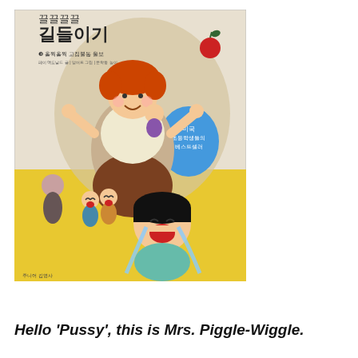[Figure (illustration): Book cover of a Korean children's book showing a large cheerful woman (Mrs. Piggle-Wiggle) with red hair, surrounded by several crying and upset children on a yellow background. Korean text at top reads the book title and subtitle. A blue badge reads '미국 초등학생들의 베스트셀러' (American elementary students' bestseller). An apple is visible in the upper right.]
Hello 'Pussy', this is Mrs. Piggle-Wiggle.